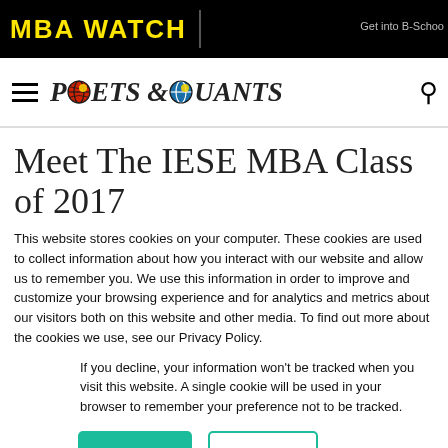MBA WATCH
[Figure (logo): Poets & Quants logo with globe icons replacing O letters]
Meet The IESE MBA Class of 2017
This website stores cookies on your computer. These cookies are used to collect information about how you interact with our website and allow us to remember you. We use this information in order to improve and customize your browsing experience and for analytics and metrics about our visitors both on this website and other media. To find out more about the cookies we use, see our Privacy Policy.
If you decline, your information won't be tracked when you visit this website. A single cookie will be used in your browser to remember your preference not to be tracked.